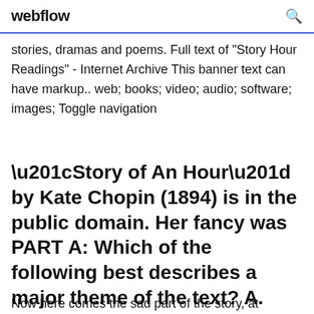webflow
stories, dramas and poems. Full text of "Story Hour Readings" - Internet Archive This banner text can have markup.. web; books; video; audio; software; images; Toggle navigation
“Story of An Hour” by Kate Chopin (1894) is in the public domain. Her fancy was PART A: Which of the following best describes a major theme of the text? A.
Now here comes the sad part of the story, at